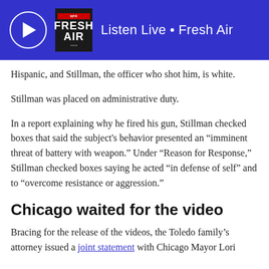Listen Live • Fresh Air
Hispanic, and Stillman, the officer who shot him, is white.
Stillman was placed on administrative duty.
In a report explaining why he fired his gun, Stillman checked boxes that said the subject's behavior presented an "imminent threat of battery with weapon." Under "Reason for Response," Stillman checked boxes saying he acted "in defense of self" and to "overcome resistance or aggression."
Chicago waited for the video
Bracing for the release of the videos, the Toledo family's attorney issued a joint statement with Chicago Mayor Lori